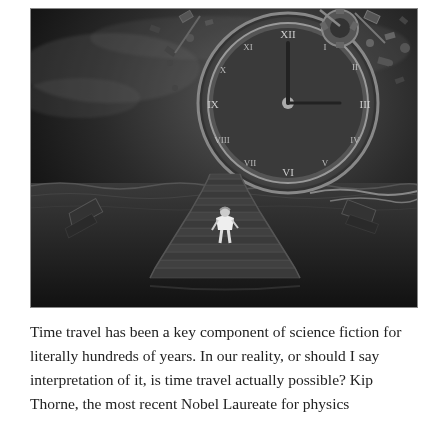[Figure (illustration): Surreal black and white digital art: a figure (woman in white dress) climbing stone stairs rising from a dark ocean, leading toward a giant crumbling clock face exploding with debris and gears against a stormy sky.]
Time travel has been a key component of science fiction for literally hundreds of years. In our reality, or should I say interpretation of it, is time travel actually possible? Kip Thorne, the most recent Nobel Laureate for physics